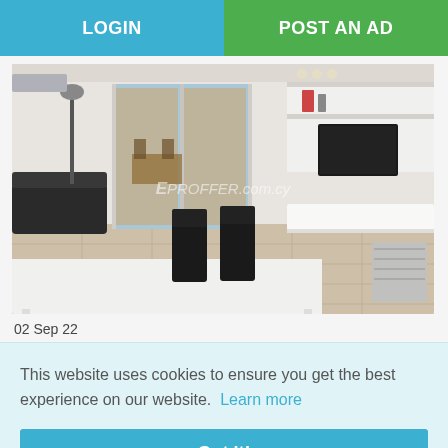LOGIN | POST AN AD
[Figure (photo): Interior photo of a modern furnished apartment living/dining room with white furniture, black chairs, a TV unit, and glass balcony door. Watermark reads 'EPROFFER.com.cy']
02 Sep 22
This website uses cookies to ensure you get the best experience on our website. Learn more
Got it!
[Figure (photo): Partial thumbnail of a room interior (bottom left) and a dark room thumbnail (bottom right), partially visible at bottom edge of page]